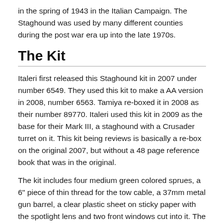in the spring of 1943 in the Italian Campaign. The Staghound was used by many different counties during the post war era up into the late 1970s.
The Kit
Italeri first released this Staghound kit in 2007 under number 6549. They used this kit to make a AA version in 2008, number 6563. Tamiya re-boxed it in 2008 as their number 89770. Italeri used this kit in 2009 as the base for their Mark III, a staghound with a Crusader turret on it. This kit being reviews is basically a re-box on the original 2007, but without a 48 page reference book that was in the original.
The kit includes four medium green colored sprues, a 6" piece of thin thread for the tow cable, a 37mm metal gun barrel, a clear plastic sheet on sticky paper with the spotlight lens and two front windows cut into it. The photo-etched sheet is only about 3"x3" and includes headlight guards, tool straps, fuel tank straps and front windows frames with wiper blades. All the sprues were packaged in the same bag. I had three parts that were broken off and scuff marks on the fenders and hull from the sprues rubbing together. The instruction sheet is 16 pages with 22 steps and five